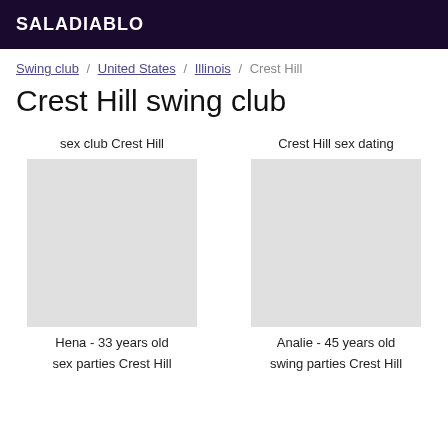SALADIABLO
Swing club / United States / Illinois / Crest Hill
Crest Hill swing club
sex club Crest Hill
Crest Hill sex dating
Hena - 33 years old
Analie - 45 years old
sex parties Crest Hill
swing parties Crest Hill